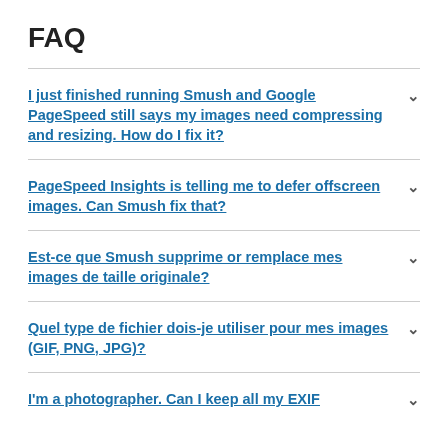FAQ
I just finished running Smush and Google PageSpeed still says my images need compressing and resizing. How do I fix it?
PageSpeed Insights is telling me to defer offscreen images. Can Smush fix that?
Est-ce que Smush supprime or remplace mes images de taille originale?
Quel type de fichier dois-je utiliser pour mes images (GIF, PNG, JPG)?
I'm a photographer. Can I keep all my EXIF